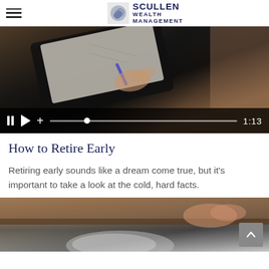Scullen Wealth Management
[Figure (screenshot): Video player showing a person writing on paper with a pen, with video controls showing pause, play, volume, progress bar, and timestamp 1:13]
How to Retire Early
Retiring early sounds like a dream come true, but it's important to take a look at the cold, hard facts.
[Figure (photo): Close-up photo of a hand touching what appears to be a table or desk surface, partially visible at bottom of page, with a scroll-to-top button in lower right corner]